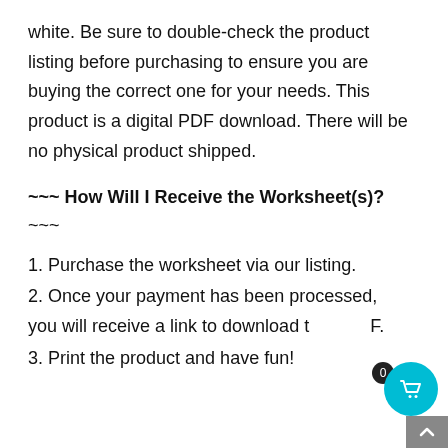white. Be sure to double-check the product listing before purchasing to ensure you are buying the correct one for your needs. This product is a digital PDF download. There will be no physical product shipped.
~~~ How Will I Receive the Worksheet(s)? ~~~
1. Purchase the worksheet via our listing.
2. Once your payment has been processed, you will receive a link to download the PDF.
3. Print the product and have fun!